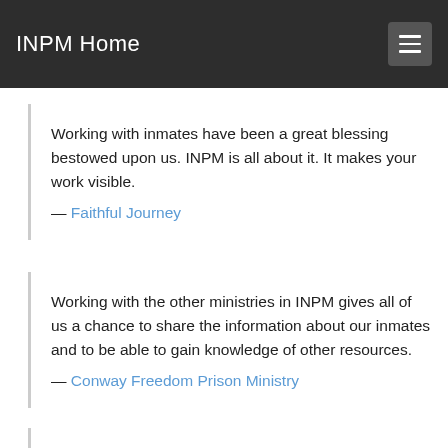INPM Home
Working with inmates have been a great blessing bestowed upon us. INPM is all about it. It makes your work visible.
— Faithful Journey
Working with the other ministries in INPM gives all of us a chance to share the information about our inmates and to be able to gain knowledge of other resources.
— Conway Freedom Prison Ministry
World Missionary Press, Inc. is an interdenominational faith service ministry energized, directed, and provided for by God for more than 57 years. Our mission is to spread the Word of God by producing